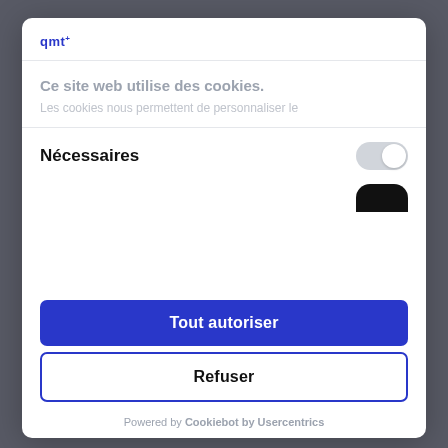[Figure (screenshot): Cookie consent modal dialog on a website. Shows qmt logo, cookie notice text, a Nécessaires toggle switch, Tout autoriser and Refuser buttons, and Cookiebot by Usercentrics branding.]
qmt
Ce site web utilise des cookies.
Les cookies nous permettent de personnaliser le
Nécessaires
Tout autoriser
Refuser
Powered by Cookiebot by Usercentrics